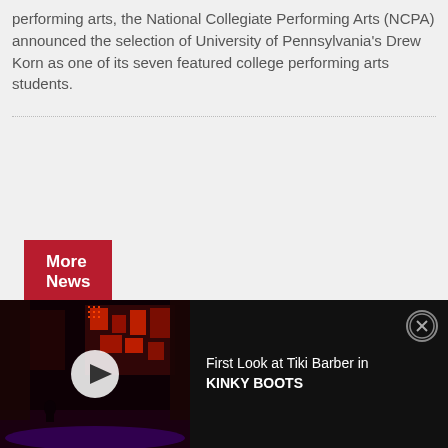performing arts, the National Collegiate Performing Arts (NCPA) announced the selection of University of Pennsylvania's Drew Korn as one of its seven featured college performing arts students.
More News
[Figure (screenshot): Video player bar at bottom of page showing a dark theater stage scene with red lighting and geometric set pieces. A white play button circle is centered on the thumbnail. To the right is the video title 'First Look at Tiki Barber in KINKY BOOTS' and a close (X) button in the top right corner.]